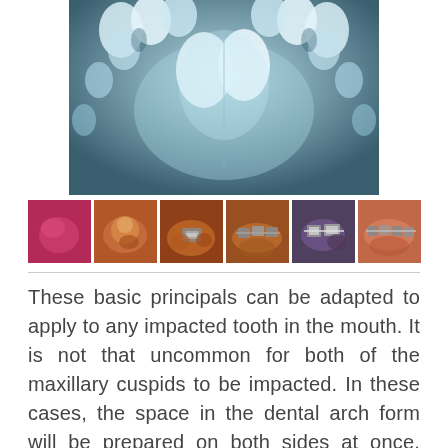[Figure (photo): X-ray/occlusal radiograph of maxillary dental arch showing impacted teeth, displayed in blue-grey tones]
[Figure (photo): Row of six small thumbnail clinical photographs showing dental/orthodontic images including oral views and braces]
These basic principals can be adapted to apply to any impacted tooth in the mouth. It is not that uncommon for both of the maxillary cuspids to be impacted. In these cases, the space in the dental arch form will be prepared on both sides at once. When the orthodontist is ready, the surgeon will expose and bracket both teeth in the